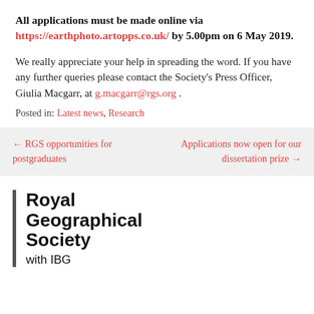All applications must be made online via https://earthphoto.artopps.co.uk/ by 5.00pm on 6 May 2019.
We really appreciate your help in spreading the word. If you have any further queries please contact the Society's Press Officer, Giulia Macgarr, at g.macgarr@rgs.org .
Posted in: Latest news, Research
← RGS opportunities for postgraduates
Applications now open for our dissertation prize →
Royal Geographical Society with IBG